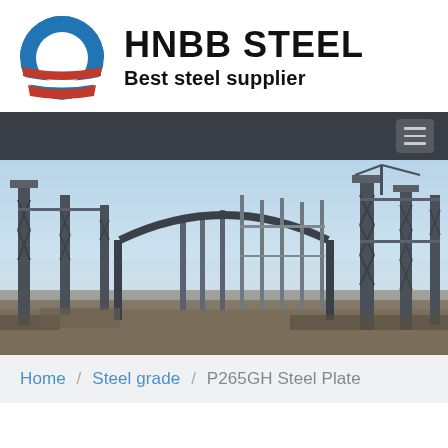[Figure (logo): HNBB Steel company logo with circular blue and red icon resembling an O shape with white stripes, alongside text 'HNBB STEEL' in bold black and tagline 'Best steel supplier']
[Figure (photo): Wide panoramic photo of a large steel structure construction site with tall steel framework columns, cranes, and blue sky in the background]
Home / Steel grade / P265GH Steel Plate